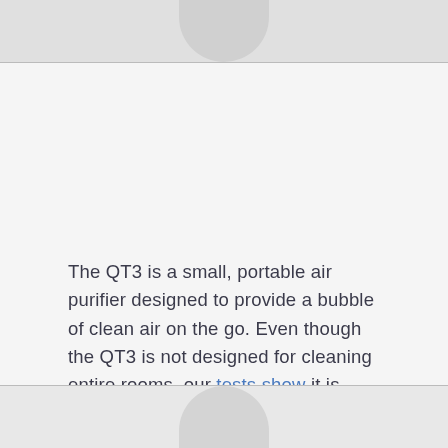[Figure (other): Partial image visible at top of page (cropped)]
The QT3 is a small, portable air purifier designed to provide a bubble of clean air on the go. Even though the QT3 is not designed for cleaning entire rooms, our tests show it is effective at cleaning small rooms up to 15 m². That raises the question, is the QT3 useful in larger rooms?
[Figure (other): Partial image/figure visible at bottom of page (cropped)]